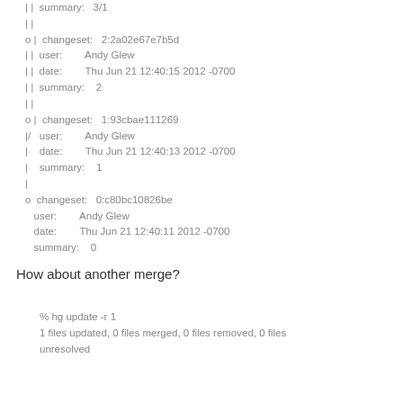| |  summary:   3/1
| |
o |  changeset:   2:2a02e67e7b5d
| |  user:        Andy Glew
| |  date:        Thu Jun 21 12:40:15 2012 -0700
| |  summary:    2
| |
o |  changeset:   1:93cbae111269
|/   user:        Andy Glew
|    date:        Thu Jun 21 12:40:13 2012 -0700
|    summary:    1
|
o  changeset:   0:c80bc10826be
   user:        Andy Glew
   date:        Thu Jun 21 12:40:11 2012 -0700
   summary:    0
How about another merge?
% hg update -r 1
1 files updated, 0 files merged, 0 files removed, 0 files
unresolved